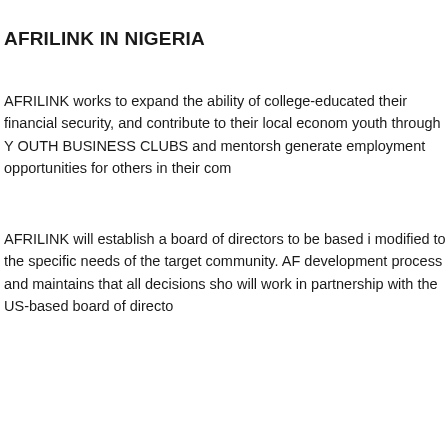AFRILINK IN NIGERIA
AFRILINK works to expand the ability of college-educated their financial security, and contribute to their local econom youth through Y OUTH BUSINESS CLUBS and mentorsh generate employment opportunities for others in their com
AFRILINK will establish a board of directors to be based i modified to the specific needs of the target community. AF development process and maintains that all decisions sho will work in partnership with the US-based board of directo